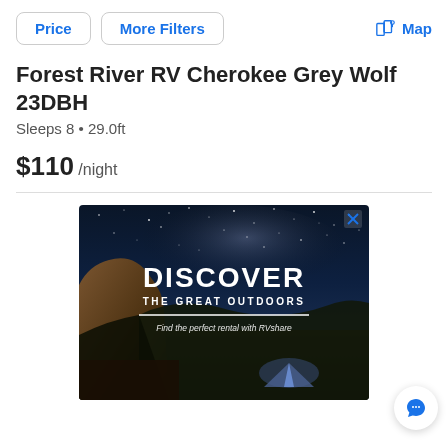Price | More Filters | Map
Forest River RV Cherokee Grey Wolf 23DBH
Sleeps 8 • 29.0ft
$110 /night
[Figure (photo): Advertisement banner showing a night sky with stars and the Milky Way over a rocky landscape, with text 'DISCOVER THE GREAT OUTDOORS' and 'Find the perfect rental with RVshare'. A campsite with a tent is visible in the foreground.]